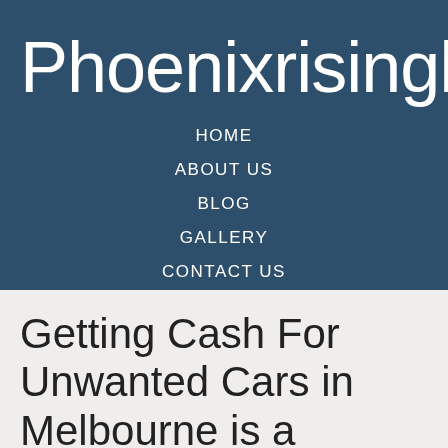Phoenixrisingha
HOME
ABOUT US
BLOG
GALLERY
CONTACT US
PRIVACY POLICY
Getting Cash For Unwanted Cars in Melbourne is a